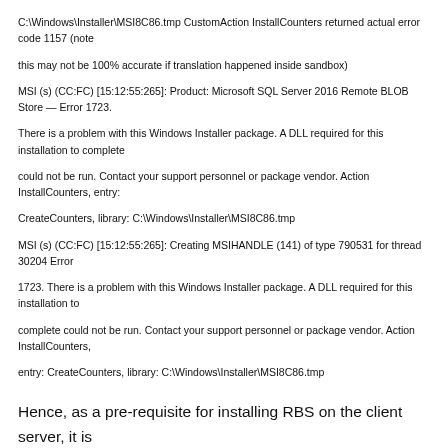C:\Windows\Installer\MSI8C86.tmp CustomAction InstallCounters returned actual error code 1157 (note this may not be 100% accurate if translation happened inside sandbox)

MSI (s) (CC:FC) [15:12:55:265]: Product: Microsoft SQL Server 2016 Remote BLOB Store — Error 1723. There is a problem with this Windows Installer package. A DLL required for this installation to complete could not be run. Contact your support personnel or package vendor. Action InstallCounters, entry: CreateCounters, library: C:\Windows\Installer\MSI8C86.tmp

MSI (s) (CC:FC) [15:12:55:265]: Creating MSIHANDLE (141) of type 790531 for thread 30204 Error 1723. There is a problem with this Windows Installer package. A DLL required for this installation to complete could not be run. Contact your support personnel or package vendor. Action InstallCounters, entry: CreateCounters, library: C:\Windows\Installer\MSI8C86.tmp
Hence, as a pre-requisite for installing RBS on the client server, it is important to install Microsoft ODBC Driver 13.0 for SQL Server or higher version on the client to avoid the above error while running the